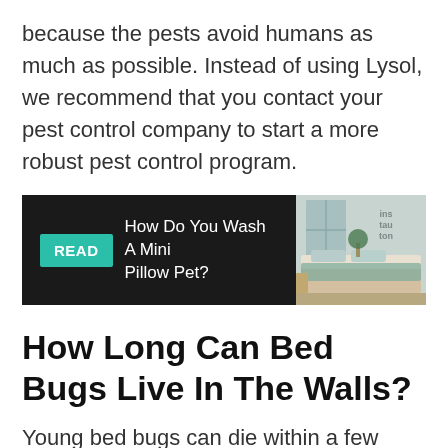because the pests avoid humans as much as possible. Instead of using Lysol, we recommend that you contact your pest control company to start a more robust pest control program.
[Figure (other): READ banner with text 'How Do You Wash A Mini Pillow Pet?' on dark background with bedroom image on the right]
How Long Can Bed Bugs Live In The Walls?
Young bed bugs can die within a few weeks if